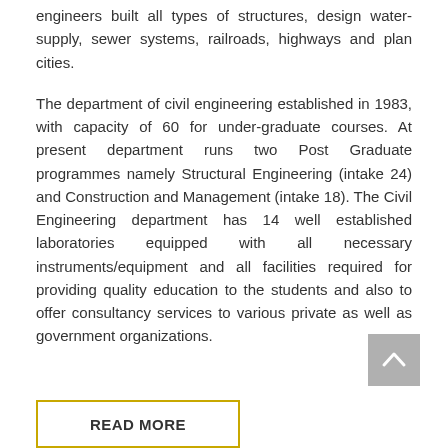engineers built all types of structures, design water-supply, sewer systems, railroads, highways and plan cities.
The department of civil engineering established in 1983, with capacity of 60 for under-graduate courses. At present department runs two Post Graduate programmes namely Structural Engineering (intake 24) and Construction and Management (intake 18). The Civil Engineering department has 14 well established laboratories equipped with all necessary instruments/equipment and all facilities required for providing quality education to the students and also to offer consultancy services to various private as well as government organizations.
READ MORE